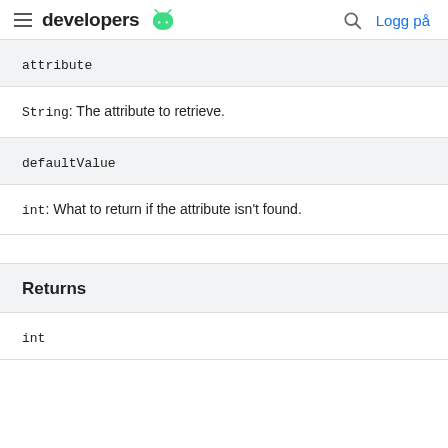developers [Android logo] | Logg på
attribute
String: The attribute to retrieve.
defaultValue
int: What to return if the attribute isn't found.
Returns
int